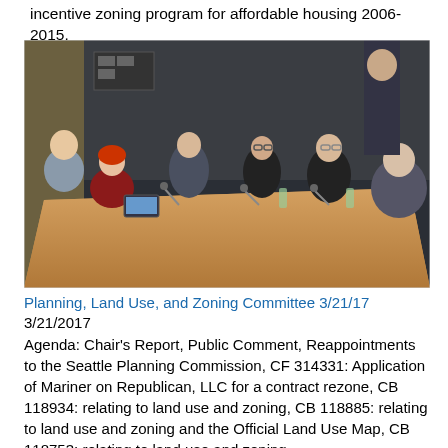incentive zoning program for affordable housing 2006-2015.
[Figure (photo): A committee meeting room with several people seated around a large conference table with microphones and laptops. A woman with red hair on the left appears to be speaking. Several men and a woman in glasses are seated across from her. A man in a suit stands in the background.]
Planning, Land Use, and Zoning Committee 3/21/17
3/21/2017
Agenda: Chair's Report, Public Comment, Reappointments to the Seattle Planning Commission, CF 314331: Application of Mariner on Republican, LLC for a contract rezone, CB 118934: relating to land use and zoning, CB 118885: relating to land use and zoning and the Official Land Use Map, CB 118753: relating to land use and zoning.